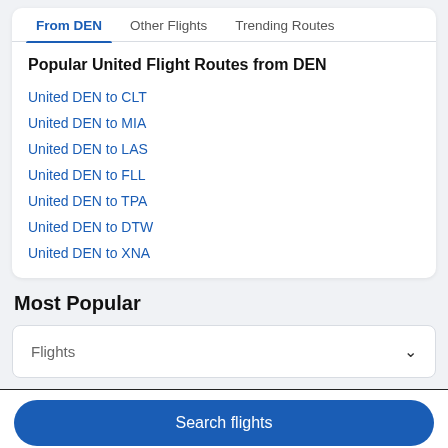From DEN | Other Flights | Trending Routes
Popular United Flight Routes from DEN
United DEN to CLT
United DEN to MIA
United DEN to LAS
United DEN to FLL
United DEN to TPA
United DEN to DTW
United DEN to XNA
Most Popular
Flights
Search flights